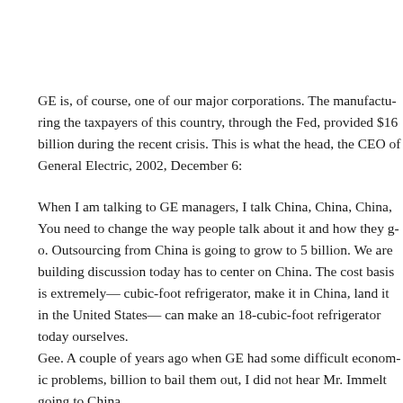GE is, of course, one of our major corporations. The manufactu... the taxpayers of this country, through the Fed, provided $16 bill... during the recent crisis. This is what the head, the CEO of Gene... 2002, December 6:
When I am talking to GE managers, I talk China, China, China,... You need to change the way people talk about it and how they g... Outsourcing from China is going to grow to 5 billion. We are bu... discussion today has to center on China. The cost basis is extrem... cubic-foot refrigerator, make it in China, land it in the United St... can make an 18-cubic-foot refrigerator today ourselves.
Gee. A couple of years ago when GE had some difficult econom... billion to bail them out, I did not hear Mr. Immelt going to Chin...